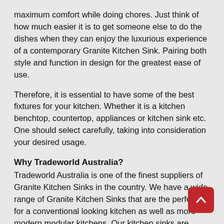maximum comfort while doing chores. Just think of how much easier it is to get someone else to do the dishes when they can enjoy the luxurious experience of a contemporary Granite Kitchen Sink. Pairing both style and function in design for the greatest ease of use.
Therefore, it is essential to have some of the best fixtures for your kitchen. Whether it is a kitchen benchtop, countertop, appliances or kitchen sink etc. One should select carefully, taking into consideration your desired usage.
Why Tradeworld Australia?
Tradeworld Australia is one of the finest suppliers of Granite Kitchen Sinks in the country. We have a wide range of Granite Kitchen Sinks that are the perfect fit for a conventional looking kitchen as well as more modern modular kitchens. Our kitchen sinks are engineered with utmost precision and feature some of the best functionalities. At Tradeworld Australia, we leave no stone unturned in bringing the best quality designer masterpieces to meet varied requirements of our